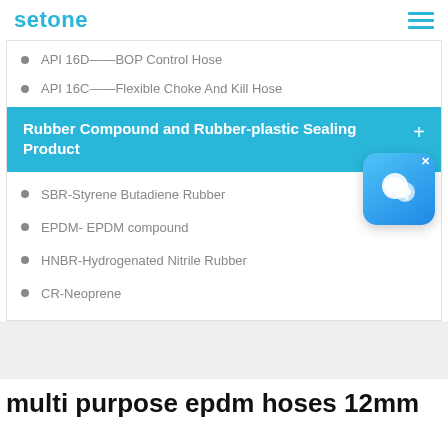setone
API 16D——BOP Control Hose
API 16C——Flexible Choke And Kill Hose
Rubber Compound and Rubber-plastic Sealing Product
SBR-Styrene Butadiene Rubber
EPDM- EPDM compound
HNBR-Hydrogenated Nitrile Rubber
CR-Neoprene
multi purpose epdm hoses 12mm